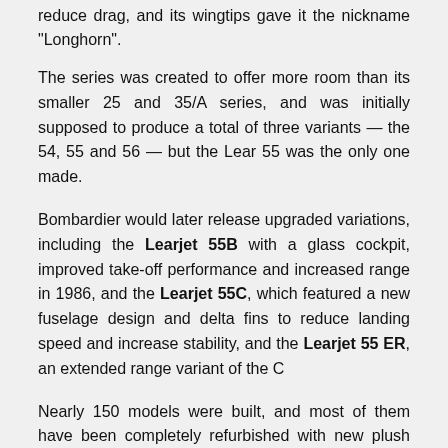reduce drag, and its wingtips gave it the nickname "Longhorn".
The series was created to offer more room than its smaller 25 and 35/A series, and was initially supposed to produce a total of three variants — the 54, 55 and 56 — but the Lear 55 was the only one made.
Bombardier would later release upgraded variations, including the Learjet 55B with a glass cockpit, improved take-off performance and increased range in 1986, and the Learjet 55C, which featured a new fuselage design and delta fins to reduce landing speed and increase stability, and the Learjet 55 ER, an extended range variant of the C
Nearly 150 models were built, and most of them have been completely refurbished with new plush interiors and beautiful paint jobs.
Today, they are terrific options for private jet charters, able to fly across the country or from region to region with a non-stop range of more than 2,000 nautical miles. The interior offers a comfortable standup cabin (5′7″), seating for up to 10